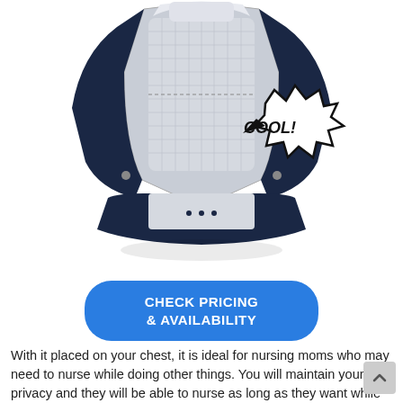[Figure (photo): Navy blue and grey baby carrier with hip seat, showing mesh panel and 'COOL!' comic-style speech bubble callout]
CHECK PRICING & AVAILABILITY
With it placed on your chest, it is ideal for nursing moms who may need to nurse while doing other things. You will maintain your privacy and they will be able to nurse as long as they want while you go about your daytime routines and erra